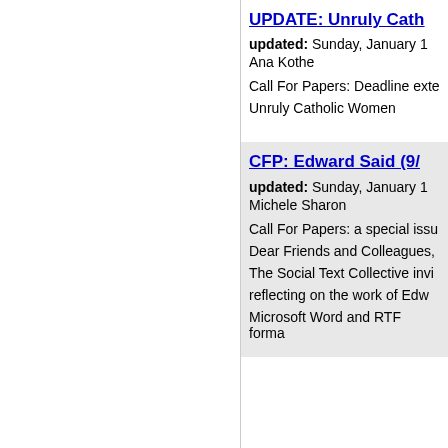UPDATE: Unruly Cath…
updated: Sunday, January 1…
Ana Kothe
Call For Papers: Deadline exte…
Unruly Catholic Women
CFP: Edward Said (9/…
updated: Sunday, January 1…
Michele Sharon
Call For Papers: a special issu…
Dear Friends and Colleagues,
The Social Text Collective invi…
reflecting on the work of Edw…
Microsoft Word and RTF forma…